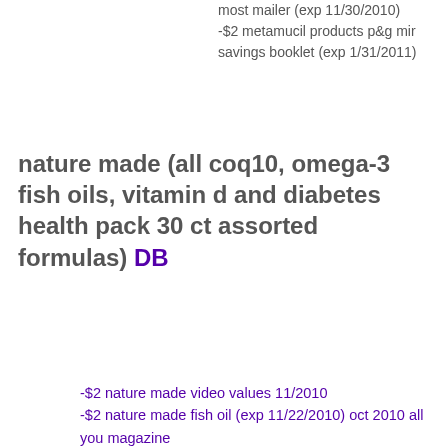most mailer (exp 11/30/2010)
-$2 metamucil products p&g mir savings booklet (exp 1/31/2011)
nature made (all coq10, omega-3 fish oils, vitamin d and diabetes health pack 30 ct assorted formulas) DB
-$2 nature made video values 11/2010
-$2 nature made fish oil (exp 11/22/2010) oct 2010 all you magazine
-$1 nature made vitamin d
-$1 nature made fish oil
-$2 nature made coq10 supplement
neuragen pn topical oil .17 oz or